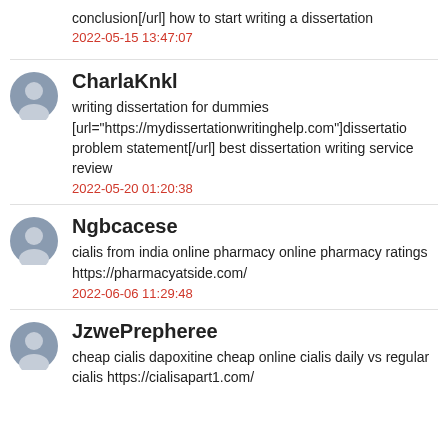conclusion[/url] how to start writing a dissertation
2022-05-15 13:47:07
CharlaKnkl
writing dissertation for dummies [url="https://mydissertationwritinghelp.com"]dissertation problem statement[/url] best dissertation writing service review
2022-05-20 01:20:38
Ngbcacese
cialis from india online pharmacy online pharmacy ratings https://pharmacyatside.com/
2022-06-06 11:29:48
JzwePrepheree
cheap cialis dapoxitine cheap online cialis daily vs regular cialis https://cialisapart1.com/